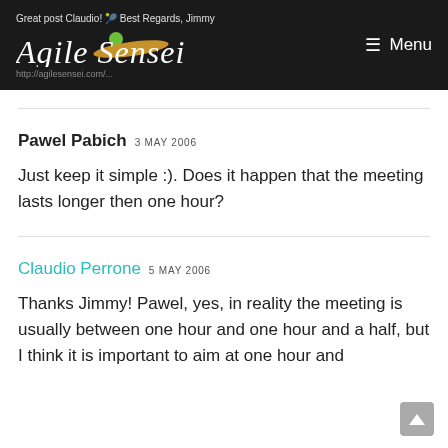Agile Sensei — Menu | Great post Claudio! Best Regards, Jimmy | http://agilesensei.com/...
Pawel Pabich 3 MAY 2006
Just keep it simple :). Does it happen that the meeting lasts longer then one hour?
Claudio Perrone 5 MAY 2006
Thanks Jimmy! Pawel, yes, in reality the meeting is usually between one hour and one hour and a half, but I think it is important to aim at one hour and